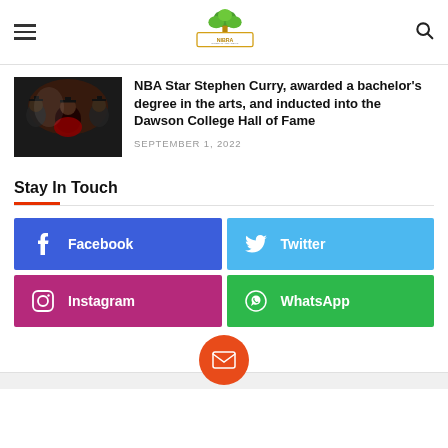NIBRA - Nigerian Area News
NBA Star Stephen Curry, awarded a bachelor's degree in the arts, and inducted into the Dawson College Hall of Fame
SEPTEMBER 1, 2022
Stay In Touch
Facebook
Twitter
Instagram
WhatsApp